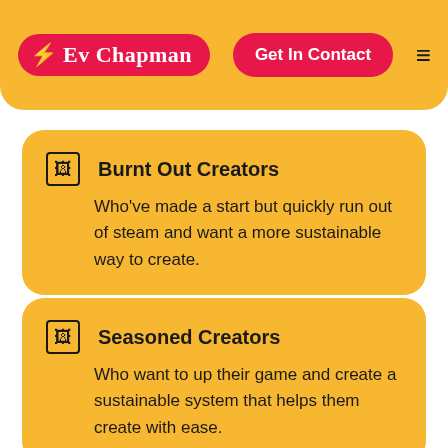Ev Chapman | Get In Contact
Burnt Out Creators — Who've made a start but quickly run out of steam and want a more sustainable way to create.
Seasoned Creators — Who want to up their game and create a sustainable system that helps them create with ease.